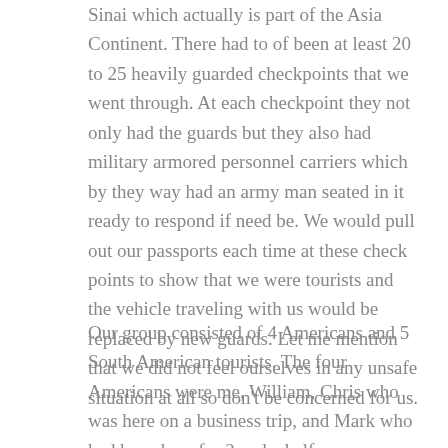Sinai which actually is part of the Asia Continent. There had to of been at least 20 to 25 heavily guarded checkpoints that we went through. At each checkpoint they not only had the guards but they also had military armored personnel carriers which by they way had an army man seated in it ready to respond if need be. We would pull out our passports each time at these check points to show that we were tourists and the vehicle traveling with us would be replaced by new guards. Let me mention that we did not feel ourselves in any unsafe situation at all so don't be concerned for us.
Our group consisted of 4 Americans and 5 South American tourists. The four Americans were me, William, Chris who was here on a business trip, and Mark who had been here for 2 and a half years working with the US military. The South American...